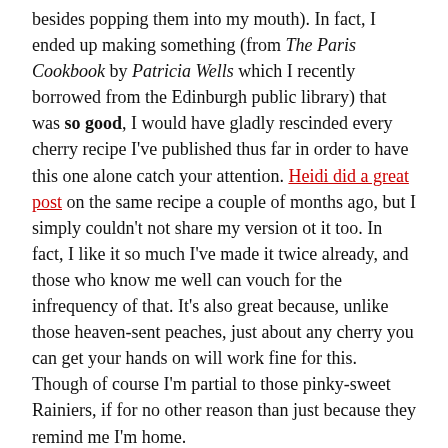besides popping them into my mouth). In fact, I ended up making something (from The Paris Cookbook by Patricia Wells which I recently borrowed from the Edinburgh public library) that was so good, I would have gladly rescinded every cherry recipe I've published thus far in order to have this one alone catch your attention. Heidi did a great post on the same recipe a couple of months ago, but I simply couldn't not share my version ot it too. In fact, I like it so much I've made it twice already, and those who know me well can vouch for the infrequency of that. It's also great because, unlike those heaven-sent peaches, just about any cherry you can get your hands on will work fine for this. Though of course I'm partial to those pinky-sweet Rainiers, if for no other reason than just because they remind me I'm home.
Cherry-Almond Gratin
Source: The Paris Cookbook by Patricia Wells
Serves: 6
Note: I imagine that you could substitute any number of fruits for the cherries here, particularly apricots, peaches, nectarines, figs or berries. Just adjust the sugar and lemon